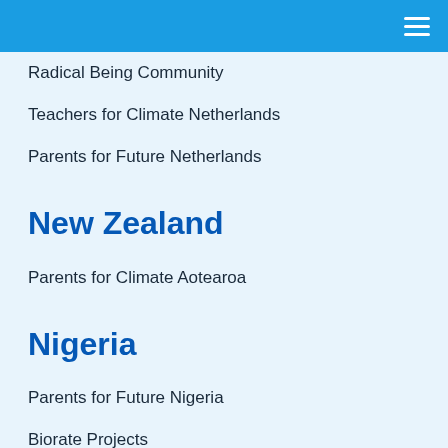Radical Being Community
Teachers for Climate Netherlands
Parents for Future Netherlands
New Zealand
Parents for Climate Aotearoa
Nigeria
Parents for Future Nigeria
Biorate Projects
University Women's Association, UNN